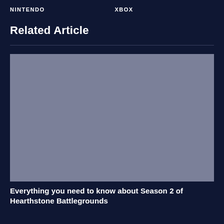NINTENDO  XBOX
Related Article
[Figure (photo): A grey placeholder image for a related article thumbnail]
Everything you need to know about Season 2 of Hearthstone Battlegrounds